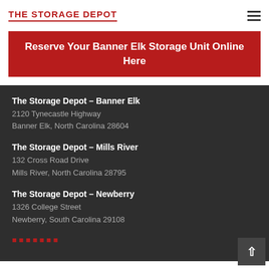THE STORAGE DEPOT
Reserve Your Banner Elk Storage Unit Online Here
The Storage Depot – Banner Elk
2120 Tynecastle Highway
Banner Elk, North Carolina 28604
The Storage Depot – Mills River
132 Cross Road Drive
Mills River, North Carolina 28795
The Storage Depot – Newberry
1326 College Street
Newberry, South Carolina 29108